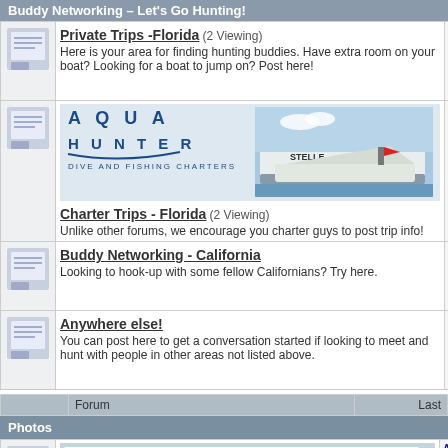Buddy Networking – Let's Go Hunting!
|  | Forum | Last |
| --- | --- | --- |
| [icon] | Private Trips -Florida (2 Viewing)
Here is your area for finding hunting buddies. Have extra room on your boat? Looking for a boat to jump on? Post here! | experience
by ponsoldtl
05-16-2 |
| [icon] | [Aqua Hunter banner]
Charter Trips - Florida (2 Viewing)
Unlike other forums, we encourage you charter guys to post trip info! | Playmate C
by StukNotAl
04-10-2 |
| [icon] | Buddy Networking - California
Looking to hook-up with some fellow Californians? Try here. | LA to Baja,
by spear2
08-30-2 |
| [icon] | Anywhere else!
You can post here to get a conversation started if looking to meet and hunt with people in other areas not listed above. | La Paz & C
by Markio
06-19-2 |
|  | Forum | Last |
| --- | --- | --- |
Photos
|  | Forum | Last |
| --- | --- | --- |
| [icon] | [Offshore Hunter banner]
Spearfishing Photos (3 Viewing)
Use this area as your "Brag Board," posting photos of your... | A tiger sha
by Joe Weg
08-26-2022 |